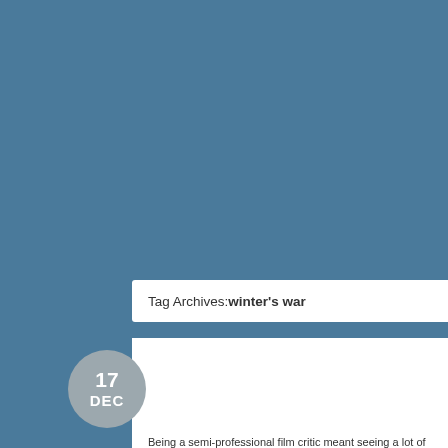Tag Archives: winter's war
[Figure (other): Date circle badge showing 17 DEC]
Being a semi-professional film critic meant seeing a lot of garbage, in a got to see. Some of these I paid good money for though, and more tha
Continue reading →
Posted in Best Of, Film | Tagged alice in wonderland, assholes, battleship, b canyons, collateral beauty, crave, death wish, exodus, greenberg, hannah h killers, mojave, peppermint, project x, runner runner, savages, serena, suicid white girl, winter's war, wonder wheel | Leave a comment